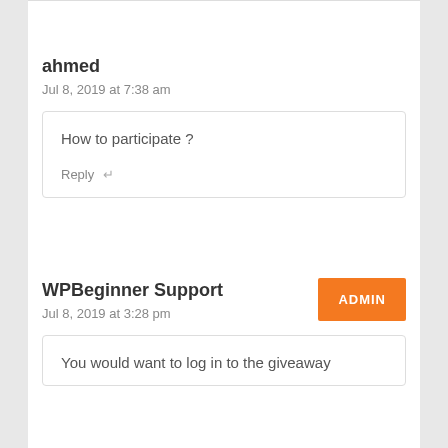ahmed
Jul 8, 2019 at 7:38 am
How to participate ?
Reply
WPBeginner Support
ADMIN
Jul 8, 2019 at 3:28 pm
You would want to log in to the giveaway